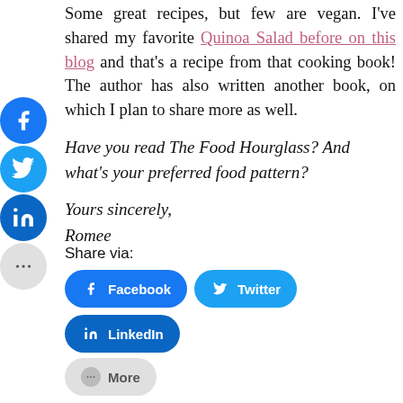Some great recipes, but few are vegan. I've shared my favorite Quinoa Salad before on this blog and that's a recipe from that cooking book! The author has also written another book, on which I plan to share more as well.
Have you read The Food Hourglass? And what's your preferred food pattern?
Yours sincerely,
Romee
Share via:
[Figure (infographic): Share buttons row: Facebook (blue), Twitter (light blue), LinkedIn (dark blue), More (grey)]